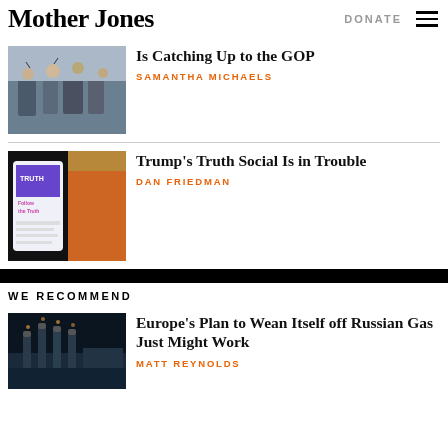Mother Jones | DONATE
[Figure (photo): Protest crowd with people raising arms]
Is Catching Up to the GOP
SAMANTHA MICHAELS
[Figure (photo): Phone showing Truth Social app with Trump in background]
Trump's Truth Social Is in Trouble
DAN FRIEDMAN
WE RECOMMEND
[Figure (photo): Industrial plant with smokestacks at night]
Europe's Plan to Wean Itself off Russian Gas Just Might Work
MATT REYNOLDS